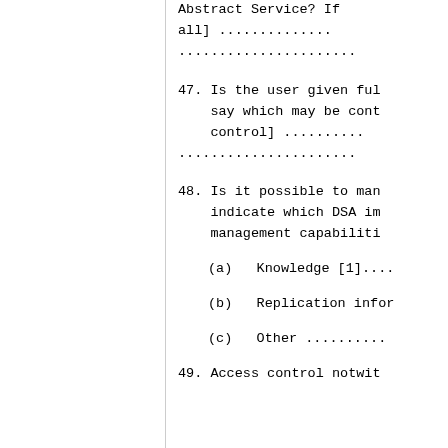Abstract Service? If all] ...............
............................
47. Is the user given full say which may be contr control] ............
............................
48. Is it possible to mana indicate which DSA imp management capabilitie
(a)  Knowledge [1]....
(b)  Replication inform
(c)  Other ...........
49. Access control notwith